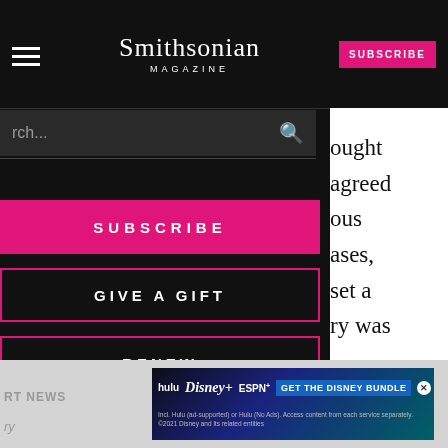Smithsonian MAGAZINE — SUBSCRIBE
rch...
SUBSCRIBE
GIVE A GIFT
RENEW
ought agreed ous ases, set a ry was se, and ercise. I at d.
RT NEWS ry SCIENCE
[Figure (screenshot): Disney bundle advertisement banner showing Hulu, Disney+, ESPN+ logos with GET THE DISNEY BUNDLE call to action]
Report an ad